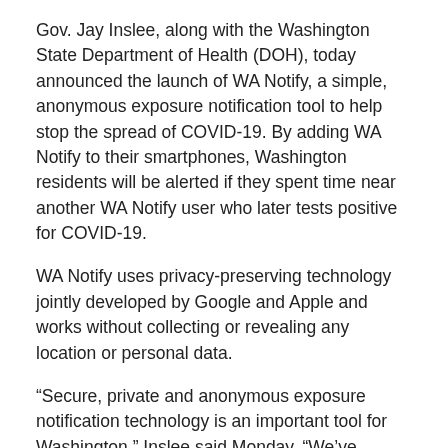Gov. Jay Inslee, along with the Washington State Department of Health (DOH), today announced the launch of WA Notify, a simple, anonymous exposure notification tool to help stop the spread of COVID-19. By adding WA Notify to their smartphones, Washington residents will be alerted if they spent time near another WA Notify user who later tests positive for COVID-19.
WA Notify uses privacy-preserving technology jointly developed by Google and Apple and works without collecting or revealing any location or personal data.
“Secure, private and anonymous exposure notification technology is an important tool for Washington,” Inslee said Monday. “We’ve deployed WA Notify in 29 languages so as many Washington residents as possible can protect themselves, their loved ones and their communities. I encourage everyone to start using WA Notify today so we can continue to work together to contain this virus.”